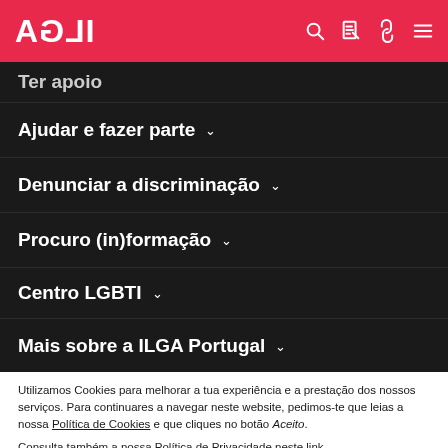ILGA (logo, mirrored) with search, document, link, and menu icons
Ter apoio
Ajudar e fazer parte ▾
Denunciar a discriminação ▾
Procuro (in)formação ▾
Centro LGBTI ▾
Mais sobre a ILGA Portugal ▾
Utilizamos Cookies para melhorar a tua experiência e a prestação dos nossos serviços. Para continuares a navegar neste website, pedimos-te que leias a nossa Política de Cookies e que cliques no botão Aceito.
Consulta também a nossa Política de Privacidade neste link.
Aceito